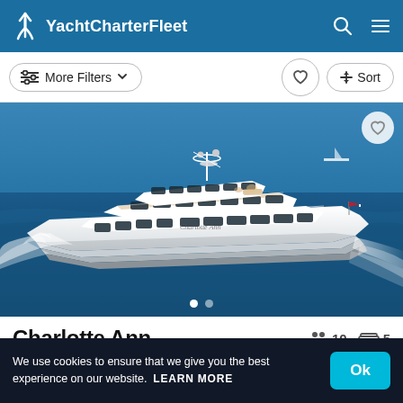YachtCharterFleet
More Filters  Sort
[Figure (photo): Aerial/side view of a large white luxury motor yacht named Charlotte Ann sailing on blue ocean water, with multiple decks, large windows, and communication equipment on top.]
Charlotte Ann
10 guests  5 cabins
We use cookies to ensure that we give you the best experience on our website.  LEARN MORE  Ok